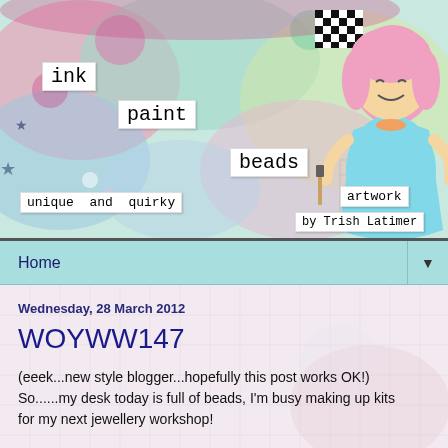[Figure (illustration): Blog header banner with colorful mixed-media art background featuring pink, teal, green, and purple paint splatters, stars, and flowers. White label tags read 'ink', 'paint', 'beads', 'unique and quirky artwork', 'by Trish Latimer'. A cartoon girl with pink hair wearing a teal dress is on the right side. A black and white checkered pattern is in the upper right.]
Home
Wednesday, 28 March 2012
WOYWW147
(eeek...new style blogger...hopefully this post works OK!) So......my desk today is full of beads, I'm busy making up kits for my next jewellery workshop!